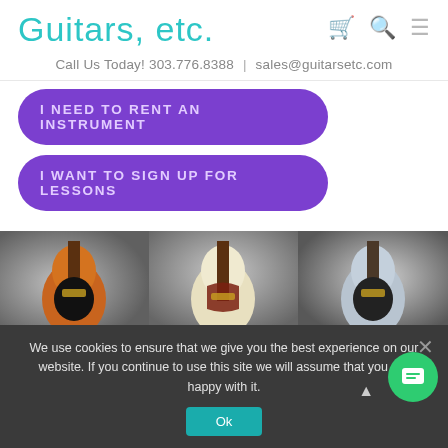Guitars, etc.
Call Us Today! 303.776.8388 | sales@guitarsetc.com
I NEED TO RENT AN INSTRUMENT
I WANT TO SIGN UP FOR LESSONS
[Figure (photo): Three electric guitars displayed side by side: an orange Stratocaster-style, a cream/ivory Stratocaster-style, and a silver Stratocaster-style guitar, each on a grey marbled background.]
We use cookies to ensure that we give you the best experience on our website. If you continue to use this site we will assume that you are happy with it.
Ok